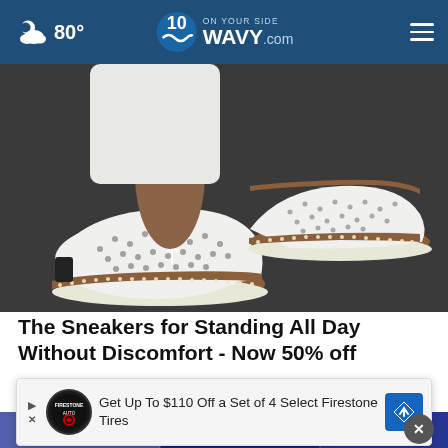80° WAVY.com ON YOUR SIDE
[Figure (photo): Close-up photo of feet wearing white perforated slip-on sneakers with brown cork-style sole and stitched detailing, on dark pavement]
The Sneakers for Standing All Day Without Discomfort - Now 50% off
Sursell
[Figure (screenshot): Partially visible second article image showing dark blue background with illustrated figures]
[Figure (infographic): Advertisement banner: Get Up To $110 Off a Set of 4 Select Firestone Tires with Firestone Auto logo and navigation arrow icon]